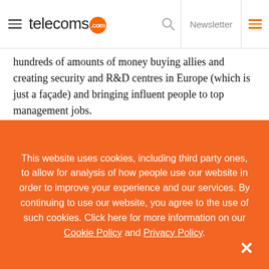telecoms.com | Newsletter
hundreds of amounts of money buying allies and creating security and R&D centres in Europe (which is just a façade) and bringing influent people to top management jobs.
Vodafone Germany caught them some 8 years ago doing that in transport network but hey, it's cheap! Nothing went to light. In 2015, they got a charter flight from Brazil to Barcelona, bringing 100+ customers and politics to MWC at their expense,
This website uses cookies, including third party ones, to allow for analysis of how people use our website in order to improve your experience and our services. By continuing to use our website, you agree to the use of such cookies. Click here for more information on our Cookie Policy and Privacy Policy.